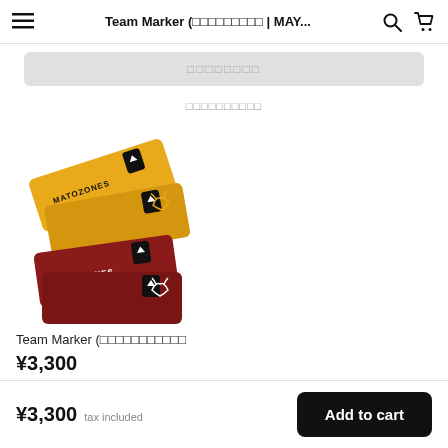Team Marker (　　　　　　　| MAY...
[Figure (photo): Yellow and maroon/dark-red Team Marker headbands with MATOZONES branding and bull logo, shown in pairs stacked at angles]
Team Marker (
¥3,300
¥3,300 tax included  Add to cart